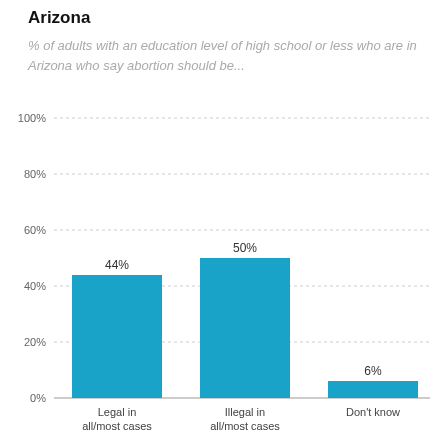Arizona
% of adults with an education level of high school or less who are in Arizona who say abortion should be...
[Figure (bar-chart): ]